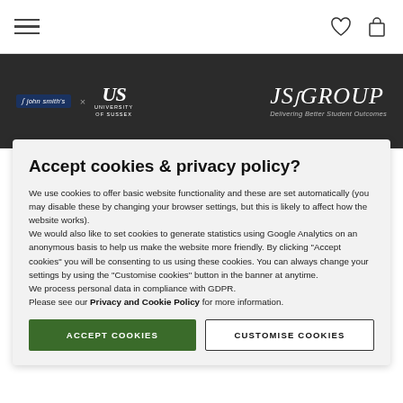Navigation bar with hamburger menu, heart icon, and bag icon
[Figure (logo): Dark banner with John Smith's logo, University of Sussex logo on the left, and JSS Group 'Delivering Better Student Outcomes' logo on the right]
Accept cookies & privacy policy?
We use cookies to offer basic website functionality and these are set automatically (you may disable these by changing your browser settings, but this is likely to affect how the website works).
We would also like to set cookies to generate statistics using Google Analytics on an anonymous basis to help us make the website more friendly. By clicking "Accept cookies" you will be consenting to us using these cookies. You can always change your settings by using the "Customise cookies" button in the banner at anytime.
We process personal data in compliance with GDPR.
Please see our Privacy and Cookie Policy for more information.
ACCEPT COOKIES | CUSTOMISE COOKIES